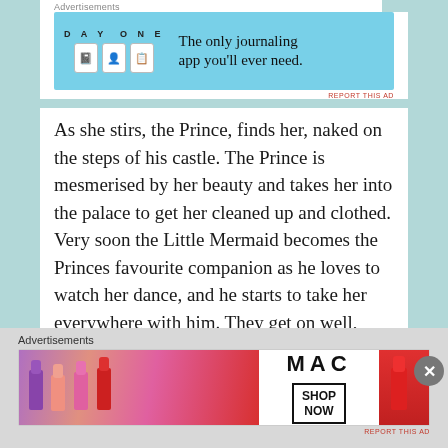Advertisements
[Figure (screenshot): DayOne journaling app advertisement banner with light blue background showing icons and tagline 'The only journaling app you'll ever need.']
As she stirs, the Prince, finds her, naked on the steps of his castle. The Prince is mesmerised by her beauty and takes her into the palace to get her cleaned up and clothed. Very soon the Little Mermaid becomes the Princes favourite companion as he loves to watch her dance, and he starts to take her everywhere with him. They get on well, despite the fact that she is mute, but unfortunately the Prince doesn't fall in love with her.
Advertisements
[Figure (screenshot): MAC cosmetics advertisement banner showing lipsticks with 'SHOP NOW' button]